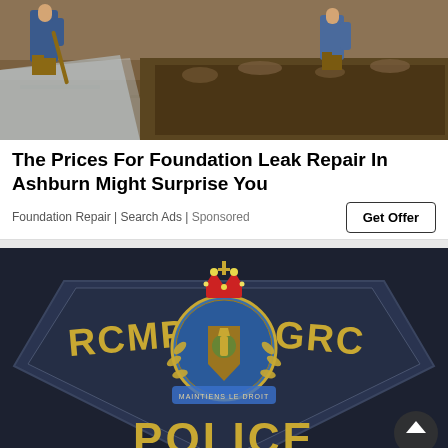[Figure (photo): Construction workers digging near a foundation with soil and a tarp visible]
The Prices For Foundation Leak Repair In Ashburn Might Surprise You
Foundation Repair | Search Ads | Sponsored
[Figure (photo): Close-up of an RCMP GRC Police badge/patch on dark navy fabric showing the royal crest and the words RCMP, GRC, POLICE]